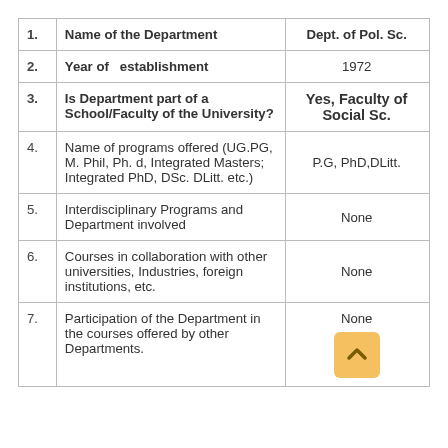| # | Question | Answer |
| --- | --- | --- |
| 1. | Name of the Department | Dept. of Pol. Sc. |
| 2. | Year of  establishment | 1972 |
| 3. | Is Department part of a School/Faculty of the University? | Yes, Faculty of Social Sc. |
| 4. | Name of programs offered (UG.PG, M. Phil, Ph. d, Integrated Masters; Integrated PhD, DSc. DLitt. etc.) | P.G, PhD,DLitt. |
| 5. | Interdisciplinary Programs and Department involved | None |
| 6. | Courses in collaboration with other universities, Industries, foreign institutions, etc. | None |
| 7. | Participation of the Department in the courses offered by other Departments. | None |